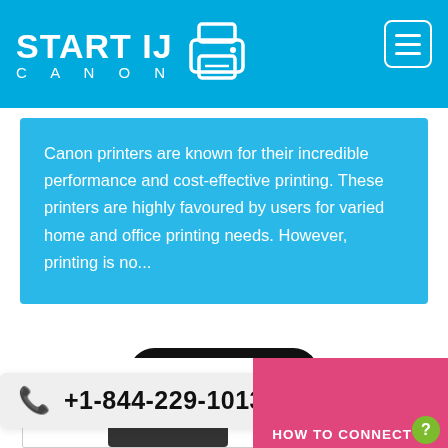START IJ CANON
Canon printers are known for their incredible performance and cost-effective printing. These printers are highly favoured by users for varied home and office printing needs. However, printing is no...
Read More
+1-844-229-1013
HOW TO CONNECT